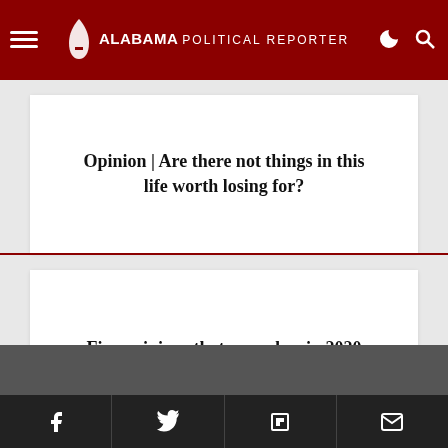Alabama Political Reporter
Opinion | Are there not things in this life worth losing for?
Five opinions that moved us in 2020
Social media links: Facebook, Twitter, Instagram, YouTube, LinkedIn